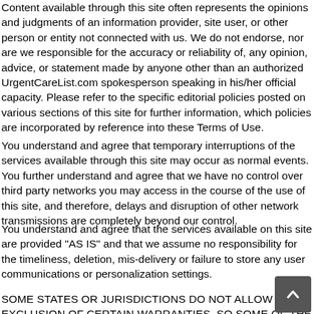Content available through this site often represents the opinions and judgments of an information provider, site user, or other person or entity not connected with us. We do not endorse, nor are we responsible for the accuracy or reliability of, any opinion, advice, or statement made by anyone other than an authorized UrgentCareList.com spokesperson speaking in his/her official capacity. Please refer to the specific editorial policies posted on various sections of this site for further information, which policies are incorporated by reference into these Terms of Use.
You understand and agree that temporary interruptions of the services available through this site may occur as normal events. You further understand and agree that we have no control over third party networks you may access in the course of the use of this site, and therefore, delays and disruption of other network transmissions are completely beyond our control.
You understand and agree that the services available on this site are provided "AS IS" and that we assume no responsibility for the timeliness, deletion, mis-delivery or failure to store any user communications or personalization settings.
SOME STATES OR JURISDICTIONS DO NOT ALLOW THE EXCLUSION OF CERTAIN WARRANTIES, SO SOME OF THE ABOVE LIMITATIONS MAY NOT APPLY TO YOU.